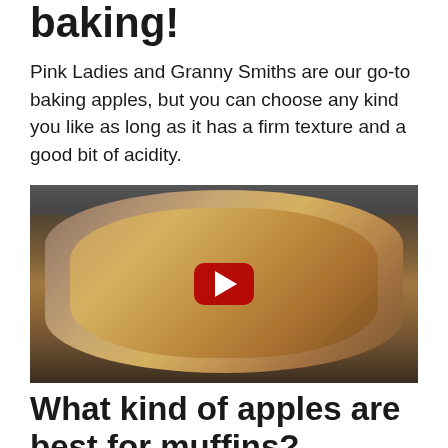baking!
Pink Ladies and Granny Smiths are our go-to baking apples, but you can choose any kind you like as long as it has a firm texture and a good bit of acidity.
[Figure (photo): A baking dish filled with apple crumble/crisp with a YouTube play button overlay in the center, placed on a red surface against a dark background.]
What kind of apples are best for muffins?